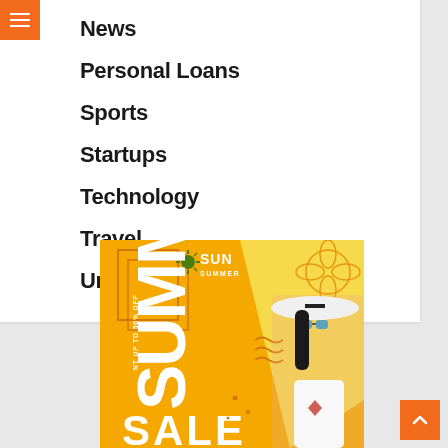News
Personal Loans
Sports
Startups
Technology
Travel
Uncategorized
[Figure (illustration): Summer sale advertisement banner with orange background, woman wearing white hat and sunglasses, text reading SUN SUMMER and SUMMER SALE with up to 50% off]